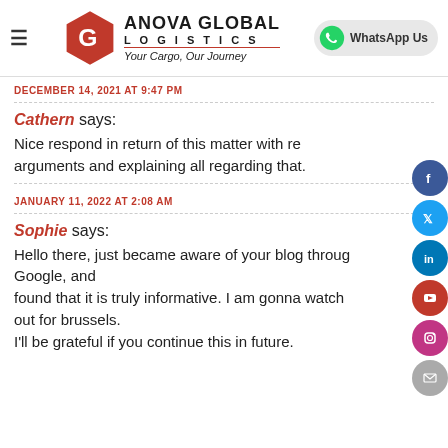Anova Global Logistics — Your Cargo, Our Journey | WhatsApp Us
DECEMBER 14, 2021 AT 9:47 PM
Cathern says: Nice respond in return of this matter with real arguments and explaining all regarding that.
JANUARY 11, 2022 AT 2:08 AM
Sophie says: Hello there, just became aware of your blog through Google, and found that it is truly informative. I am gonna watch out for brussels. I'll be grateful if you continue this in future.